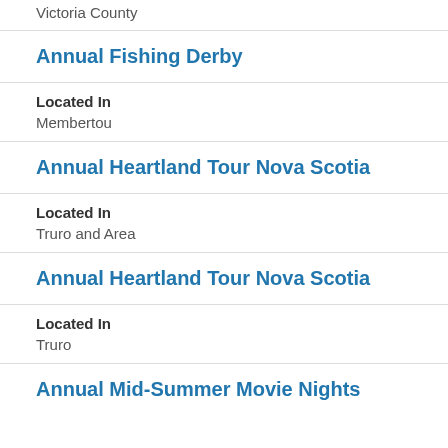Victoria County
Annual Fishing Derby
Located In
Membertou
Annual Heartland Tour Nova Scotia
Located In
Truro and Area
Annual Heartland Tour Nova Scotia
Located In
Truro
Annual Mid-Summer Movie Nights